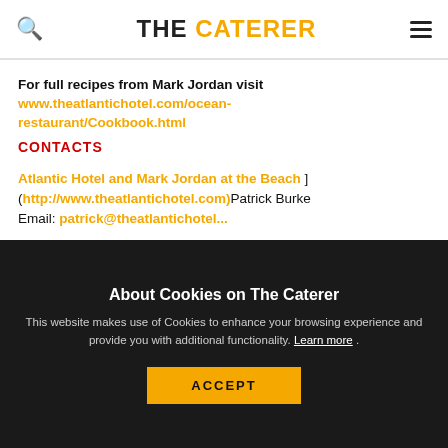THE CATERER
For full recipes from Mark Jordan visit www.theatlantichotel.com/ocean-restaurant/Cookbook.html
CONTACTS
Atlantic Hotel and Mark Jordan at the Beach ] (http://www.theatlantichotel.com)Patrick Burke Email: patrick@theatlantichotel...
About Cookies on The Caterer
This website makes use of Cookies to enhance your browsing experience and provide you with additional functionality. Learn more .
ACCEPT